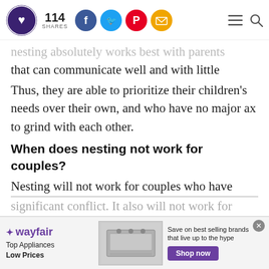114 SHARES [social icons: Facebook, Twitter, Pinterest, Email] [hamburger menu] [search]
...nesting absolutely works best with parents that can communicate well and with little tension.
Thus, they are able to prioritize their children's needs over their own, and who have no major ax to grind with each other.
When does nesting not work for couples?
Nesting will not work for couples who have significant conflict. It also will not work for
[Figure (advertisement): Wayfair advertisement banner: Top Appliances Low Prices, with appliance image, Save on best selling brands that live up to the hype, Shop now button]